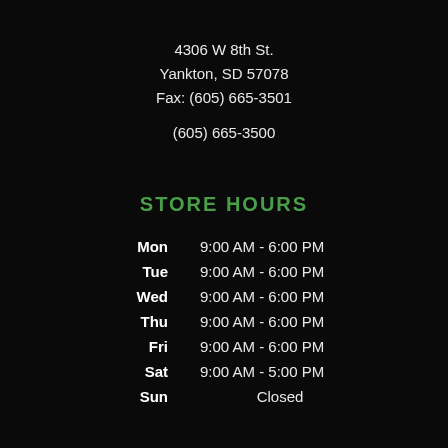4306 W 8th St.
Yankton, SD 57078
Fax: (605) 665-3501
(605) 665-3500
STORE HOURS
| Day | Hours |
| --- | --- |
| Mon | 9:00 AM - 6:00 PM |
| Tue | 9:00 AM - 6:00 PM |
| Wed | 9:00 AM - 6:00 PM |
| Thu | 9:00 AM - 6:00 PM |
| Fri | 9:00 AM - 6:00 PM |
| Sat | 9:00 AM - 5:00 PM |
| Sun | Closed |